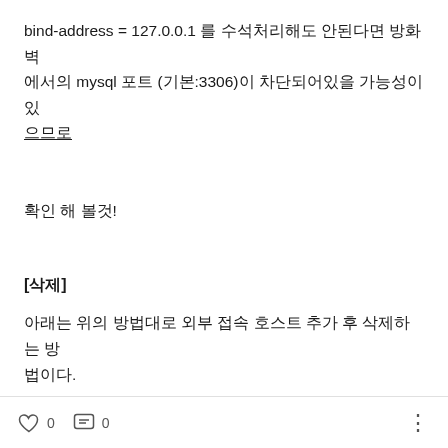bind-address = 127.0.0.1 를 수석처리해도 안된다면 방화벽에서의 mysql 포트 (기본:3306)이 차단되어있을 가능성이 있으므로
확인 해 볼것!
[삭제]
아래는 위의 방법대로 외부 접속 호스트 추가 후 삭제하는 방법이다.
0   0